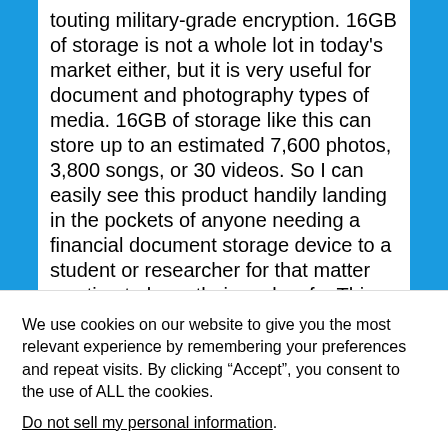touting military-grade encryption. 16GB of storage is not a whole lot in today's market either, but it is very useful for document and photography types of media. 16GB of storage like this can store up to an estimated 7,600 photos, 3,800 songs, or 30 videos. So I can easily see this product handily landing in the pockets of anyone needing a financial document storage device to a student or researcher for that matter wanting to keep their work safe. This kind of encrypted device is more for quick moving around the office, from your dorm to class, or even on a long trip...
We use cookies on our website to give you the most relevant experience by remembering your preferences and repeat visits. By clicking “Accept”, you consent to the use of ALL the cookies.
Do not sell my personal information.
Cookie Settings
Accept